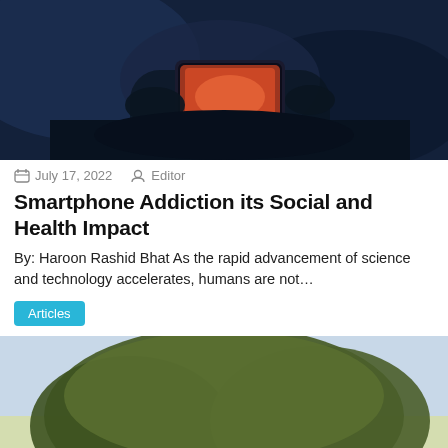[Figure (photo): Dark blue-toned photo of hands holding a smartphone with glowing screen]
July 17, 2022   Editor
Smartphone Addiction its Social and Health Impact
By: Haroon Rashid Bhat As the rapid advancement of science and technology accelerates, humans are not…
Articles
[Figure (photo): Two people working among olive trees in a sunny outdoor setting, one in camouflage and one in red shirt reaching up into branches]